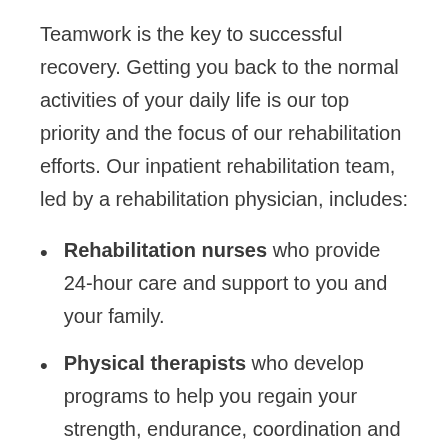Teamwork is the key to successful recovery. Getting you back to the normal activities of your daily life is our top priority and the focus of our rehabilitation efforts. Our inpatient rehabilitation team, led by a rehabilitation physician, includes:
Rehabilitation nurses who provide 24-hour care and support to you and your family.
Physical therapists who develop programs to help you regain your strength, endurance, coordination and balance and improve your mobility.